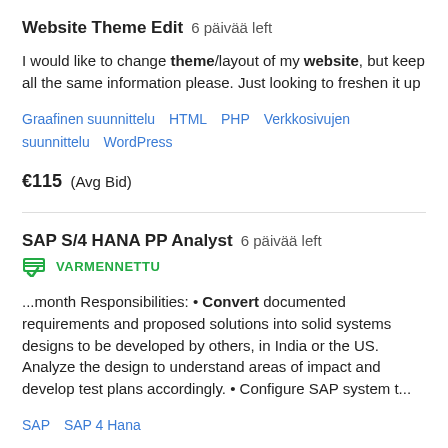Website Theme Edit  6 päivää left
I would like to change theme/layout of my website, but keep all the same information please. Just looking to freshen it up
Graafinen suunnittelu   HTML   PHP   Verkkosivujen suunnittelu   WordPress
€115  (Avg Bid)
SAP S/4 HANA PP Analyst  6 päivää left
VARMENNETTU
...month Responsibilities: • Convert documented requirements and proposed solutions into solid systems designs to be developed by others, in India or the US. Analyze the design to understand areas of impact and develop test plans accordingly. • Configure SAP system t...
SAP   SAP 4 Hana